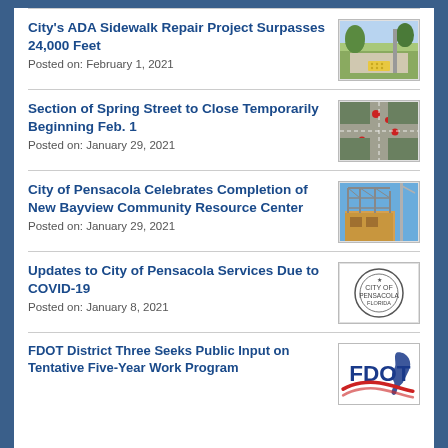City's ADA Sidewalk Repair Project Surpasses 24,000 Feet
Posted on: February 1, 2021
[Figure (photo): Photo of a sidewalk with yellow ADA detectable warning surface and a street sign in a tree-lined neighborhood]
Section of Spring Street to Close Temporarily Beginning Feb. 1
Posted on: January 29, 2021
[Figure (photo): Aerial or overhead photo of a street intersection or construction area with red markers visible]
City of Pensacola Celebrates Completion of New Bayview Community Resource Center
Posted on: January 29, 2021
[Figure (photo): Photo of a building under construction with steel framing visible against a blue sky]
Updates to City of Pensacola Services Due to COVID-19
Posted on: January 8, 2021
[Figure (logo): City of Pensacola official seal/logo]
FDOT District Three Seeks Public Input on Tentative Five-Year Work Program
[Figure (logo): FDOT (Florida Department of Transportation) logo with Florida state outline in blue and red swoosh]